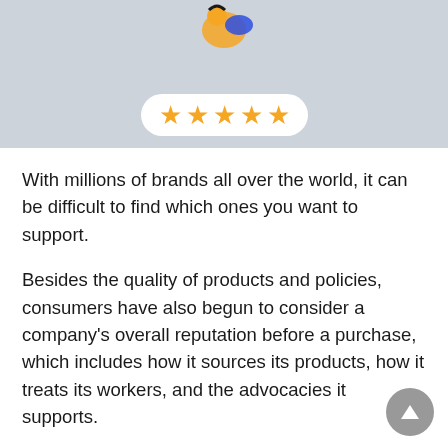[Figure (illustration): Illustration of a person with orange and blue clothing, partially visible at top, above a white rounded rectangle containing five gold stars (five-star rating display) on a light gray background.]
With millions of brands all over the world, it can be difficult to find which ones you want to support.
Besides the quality of products and policies, consumers have also begun to consider a company's overall reputation before a purchase, which includes how it sources its products, how it treats its workers, and the advocacies it supports.
While in some cases, the points in bad reviews